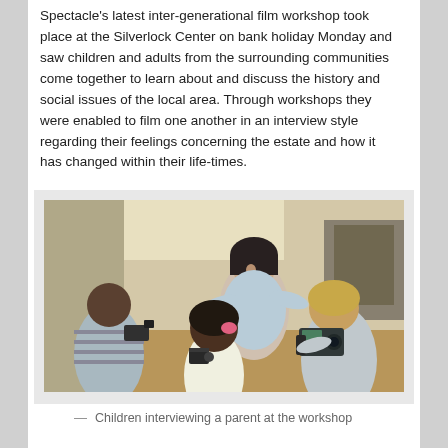Spectacle's latest inter-generational film workshop took place at the Silverlock Center on bank holiday Monday and saw children and adults from the surrounding communities come together to learn about and discuss the history and social issues of the local area. Through workshops they were enabled to film one another in an interview style regarding their feelings concerning the estate and how it has changed within their life-times.
[Figure (photo): Children and young people filming a smiling woman in a workshop setting. Two children are seen from behind holding cameras, filming a woman who is seated and smiling at them in what appears to be a community center room.]
— Children interviewing a parent at the workshop